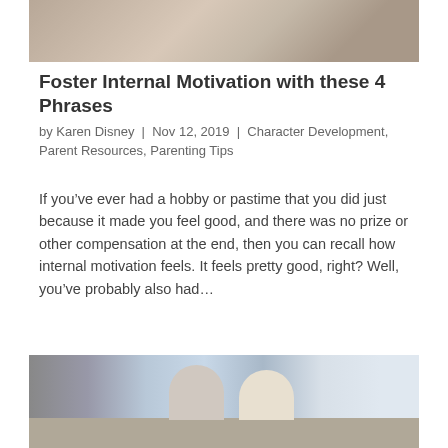[Figure (photo): Partial view of a person, cropped at top of page]
Foster Internal Motivation with these 4 Phrases
by Karen Disney | Nov 12, 2019 | Character Development, Parent Resources, Parenting Tips
If you’ve ever had a hobby or pastime that you did just because it made you feel good, and there was no prize or other compensation at the end, then you can recall how internal motivation feels. It feels pretty good, right? Well, you’ve probably also had…
[Figure (photo): Two children sitting on a classroom floor working on papers/drawings]